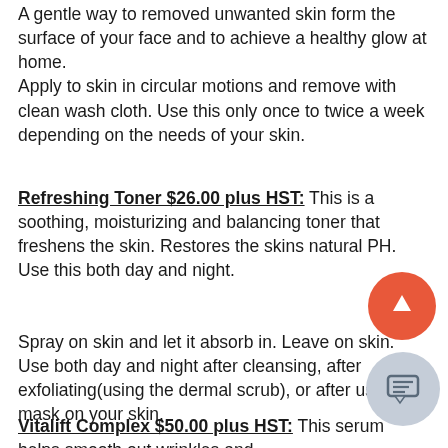A gentle way to removed unwanted skin form the surface of your face and to achieve a healthy glow at home. Apply to skin in circular motions and remove with clean wash cloth. Use this only once to twice a week depending on the needs of your skin.
Refreshing Toner $26.00 plus HST: This is a soothing, moisturizing and balancing toner that freshens the skin. Restores the skins natural PH. Use this both day and night.
Spray on skin and let it absorb in. Leave on skin. Use both day and night after cleansing, after exfoliating(using the dermal scrub), or after using a mask on your skin.
Vitalift Complex $50.00 plus HST: This serum helps smooth out wrinkles and